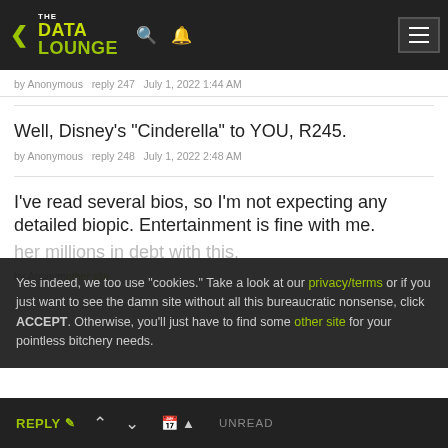THE DATA LOUNGE
by Anonymous  reply 247  July 1, 2022 1:44 AM
Well, Disney's "Cinderella" to YOU, R245.
by Anonymous  reply 248  July 1, 2022 2:48 AM
I've read several bios, so I'm not expecting any detailed biopic. Entertainment is fine with me.
Yes indeed, we too use "cookies." Take a look at our privacy/terms or if you just want to see the damn site without all this bureaucratic nonsense, click ACCEPT. Otherwise, you'll just have to find some other site for your pointless bitchery needs.
REPLY  ^  v  UNREAD